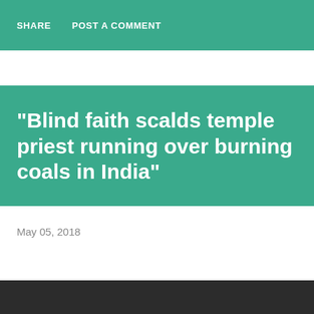SHARE   POST A COMMENT
"Blind faith scalds temple priest running over burning coals in India"
May 05, 2018
[Figure (other): Dark/black bar at the bottom of the page, likely a footer or image strip]